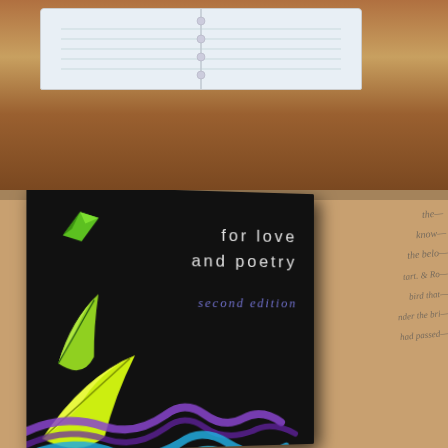[Figure (photo): Top half: photo of an open lined notebook/journal on a wooden table surface, viewed from above.]
[Figure (photo): Bottom half: photo of a black book cover titled 'for love and poetry second edition' with colorful feather/leaf illustrations, resting on a surface with handwritten text visible to the right.]